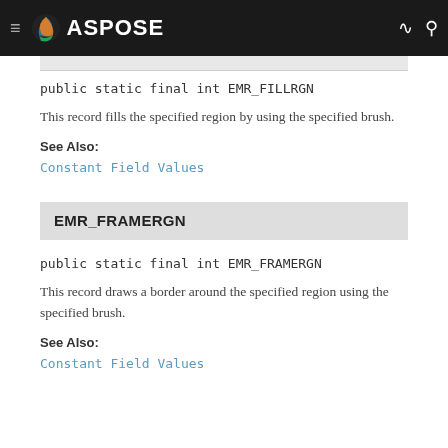[Figure (logo): Aspose logo with navigation bar on dark background]
This record fills the specified region by using the specified brush.
See Also:
Constant Field Values
EMR_FRAMERGN
This record draws a border around the specified region using the specified brush.
See Also:
Constant Field Values